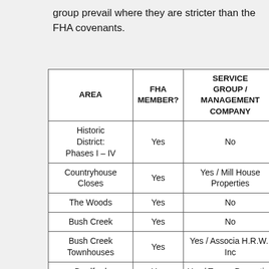group prevail where they are stricter than the FHA covenants.
| AREA | FHA MEMBER? | SERVICE GROUP / MANAGEMENT COMPANY |
| --- | --- | --- |
| Historic District: Phases I – IV | Yes | No |
| Countryhouse Closes | Yes | Yes / Mill House Properties |
| The Woods | Yes | No |
| Bush Creek | Yes | No |
| Bush Creek Townhouses | Yes | Yes / Associa H.R.W., Inc |
| Bradford | Yes | Yes / Towne Properties |